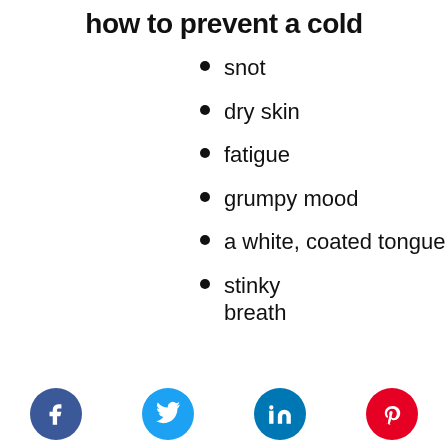how to prevent a cold
snot
dry skin
fatigue
grumpy mood
a white, coated tongue
stinky breath